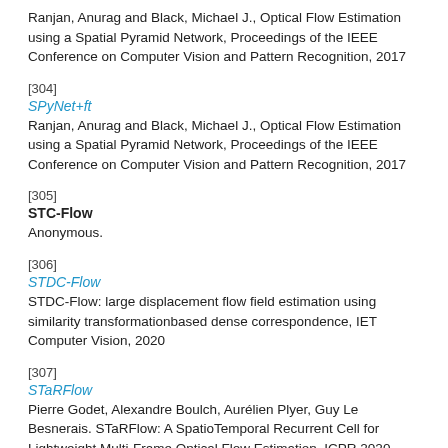Ranjan, Anurag and Black, Michael J., Optical Flow Estimation using a Spatial Pyramid Network, Proceedings of the IEEE Conference on Computer Vision and Pattern Recognition, 2017
[304]
SPyNet+ft
Ranjan, Anurag and Black, Michael J., Optical Flow Estimation using a Spatial Pyramid Network, Proceedings of the IEEE Conference on Computer Vision and Pattern Recognition, 2017
[305]
STC-Flow
Anonymous.
[306]
STDC-Flow
STDC-Flow: large displacement flow field estimation using similarity transformationbased dense correspondence, IET Computer Vision, 2020
[307]
STaRFlow
Pierre Godet, Alexandre Boulch, Aurélien Plyer, Guy Le Besnerais. STaRFlow: A SpatioTemporal Recurrent Cell for Lightweight Multi-Frame Optical Flow Estimation, ICPR 2020